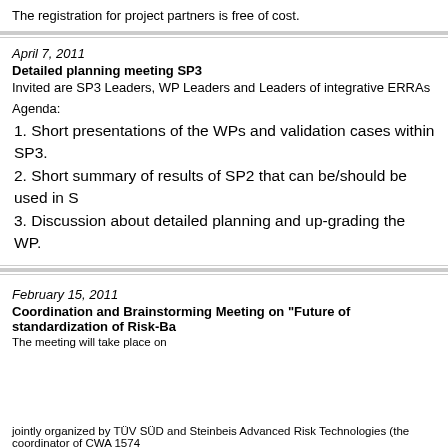The registration for project partners is free of cost.
April 7, 2011
Detailed planning meeting SP3
Invited are SP3 Leaders, WP Leaders and Leaders of integrative ERRAs
Agenda:
1. Short presentations of the WPs and validation cases within SP3.
2. Short summary of results of SP2 that can be/should be used in S
3. Discussion about detailed planning and up-grading the WP.
February 15, 2011
Coordination and Brainstorming Meeting on "Future of standardization of Risk-Ba
The meeting will take place on
jointly organized by TÜV SÜD and Steinbeis Advanced Risk Technologies (the coordinator of CWA 1574
The objective of the meeting is to define the "way forward" which has to be communicated to CEN and DI
The following aspects should be explored:
1. Which standardization methodology (CFDC?) is interesting in developing the standardization…